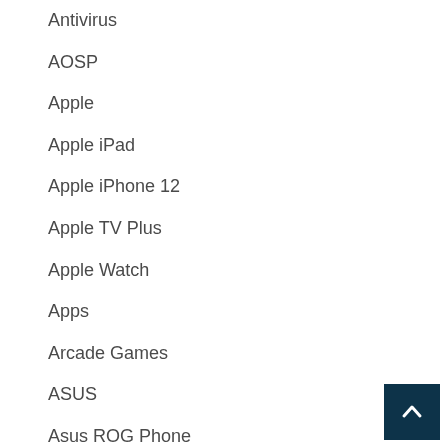Antivirus
AOSP
Apple
Apple iPad
Apple iPhone 12
Apple TV Plus
Apple Watch
Apps
Arcade Games
ASUS
Asus ROG Phone
Asus Zenfone 6